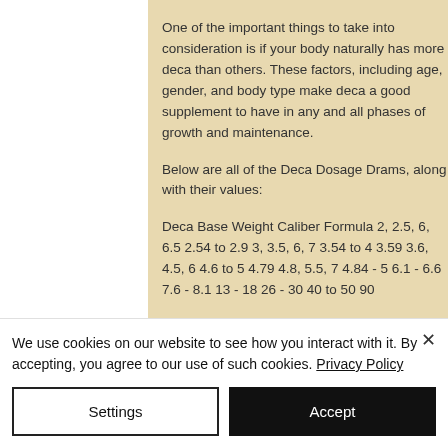One of the important things to take into consideration is if your body naturally has more deca than others. These factors, including age, gender, and body type make deca a good supplement to have in any and all phases of growth and maintenance.
Below are all of the Deca Dosage Drams, along with their values:
Deca Base Weight Caliber Formula 2, 2.5, 6, 6.5 2.54 to 2.9 3, 3.5, 6, 7 3.54 to 4 3.59 3.6, 4.5, 6 4.6 to 5 4.79 4.8, 5.5, 7 4.84 - 5 6.1 - 6.6 7.6 - 8.1 13 - 18 26 - 30 40 to 50 90
We use cookies on our website to see how you interact with it. By accepting, you agree to our use of such cookies. Privacy Policy